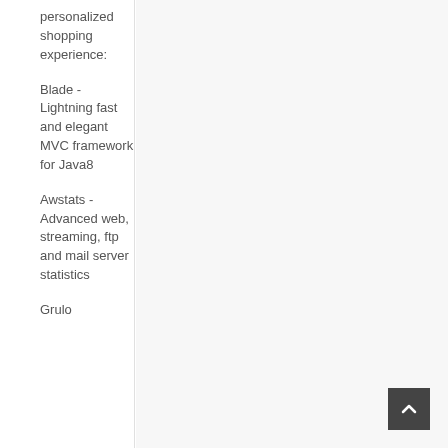personalized shopping experience:
Blade - Lightning fast and elegant MVC framework for Java8
Awstats - Advanced web, streaming, ftp and mail server statistics
Grulo